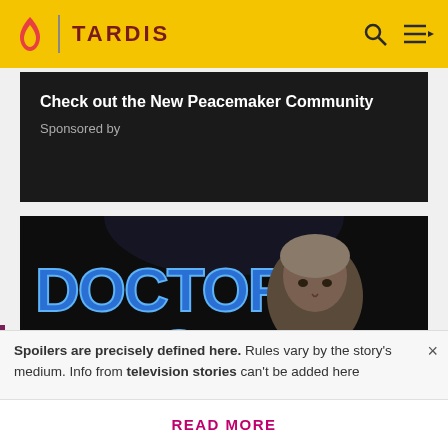TARDIS
[Figure (screenshot): Advertisement banner with dark background showing 'Check out the New Peacemaker Community' text]
Check out the New Peacemaker Community
Sponsored by
[Figure (photo): Doctor Who Magazine Special Edition cover image showing Doctor Who logo in blue lettering and an older man in a black outfit pointing at camera, with 'SPECIAL EDITION' text at bottom]
Spoilers are precisely defined here. Rules vary by the story's medium. Info from television stories can't be added here
READ MORE